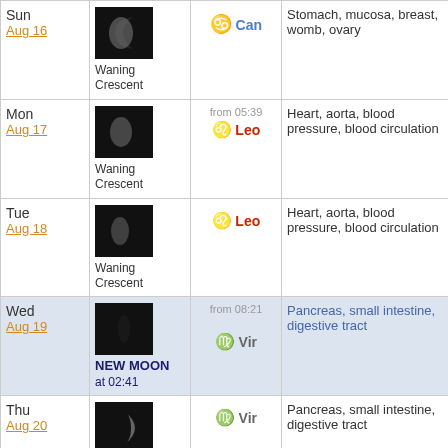| Day | Moon Phase | Sign | Body Parts | Favorable |
| --- | --- | --- | --- | --- |
| Sun
Aug 16 | Waning Crescent | Can | Stomach, mucosa, breast, womb, ovary | Yes |
| Mon
Aug 17 | Waning Crescent | from 05:39 Leo | Heart, aorta, blood pressure, blood circulation | Yes |
| Tue
Aug 18 | Waning Crescent | Leo | Heart, aorta, blood pressure, blood circulation | Yes |
| Wed
Aug 19 | NEW MOON at 02:41 | from 08:21 Vir | Pancreas, small intestine, digestive tract | No |
| Thu
Aug 20 | Waxing Crescent | Vir | Pancreas, small intestine, digestive tract | - |
| Fri
Aug 21 | Waxing Crescent | from 09:16 Lib | Kidney, ureter, urinary bladder, veins, skin | - |